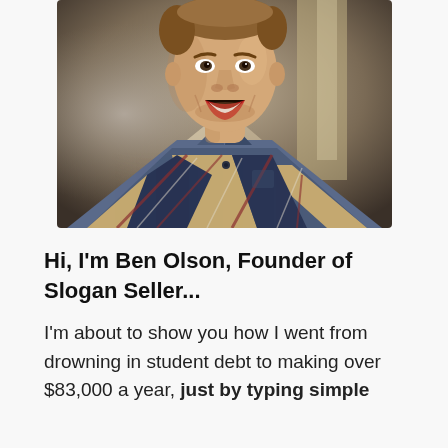[Figure (photo): Smiling young man with short hair wearing a blue, brown, and white plaid flannel shirt, photographed from the shoulders up against a blurred indoor background.]
Hi, I'm Ben Olson, Founder of Slogan Seller...
I'm about to show you how I went from drowning in student debt to making over $83,000 a year, just by typing simple